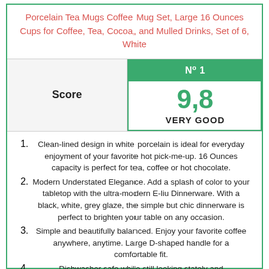Porcelain Tea Mugs Coffee Mug Set, Large 16 Ounces Cups for Coffee, Tea, Cocoa, and Mulled Drinks, Set of 6, White
| Score | Nº 1 / 9,8 VERY GOOD |
| --- | --- |
Clean-lined design in white porcelain is ideal for everyday enjoyment of your favorite hot pick-me-up. 16 Ounces capacity is perfect for tea, coffee or hot chocolate.
Modern Understated Elegance. Add a splash of color to your tabletop with the ultra-modern E-liu Dinnerware. With a black, white, grey glaze, the simple but chic dinnerware is perfect to brighten your table on any occasion.
Simple and beautifully balanced. Enjoy your favorite coffee anywhere, anytime. Large D-shaped handle for a comfortable fit.
Dishwasher safe while still looking stately and